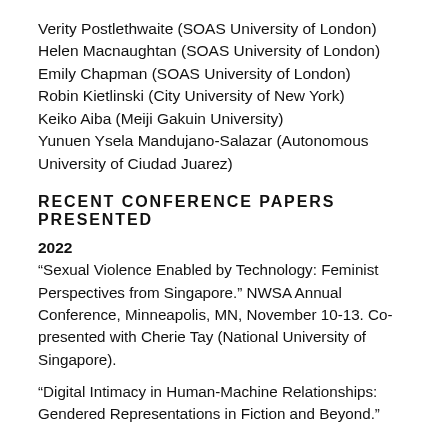Verity Postlethwaite (SOAS University of London)
Helen Macnaughtan (SOAS University of London)
Emily Chapman (SOAS University of London)
Robin Kietlinski (City University of New York)
Keiko Aiba (Meiji Gakuin University)
Yunuen Ysela Mandujano-Salazar (Autonomous University of Ciudad Juarez)
RECENT CONFERENCE PAPERS PRESENTED
2022
“Sexual Violence Enabled by Technology: Feminist Perspectives from Singapore.” NWSA Annual Conference, Minneapolis, MN, November 10-13. Co-presented with Cherie Tay (National University of Singapore).
“Digital Intimacy in Human-Machine Relationships: Gendered Representations in Fiction and Beyond.”